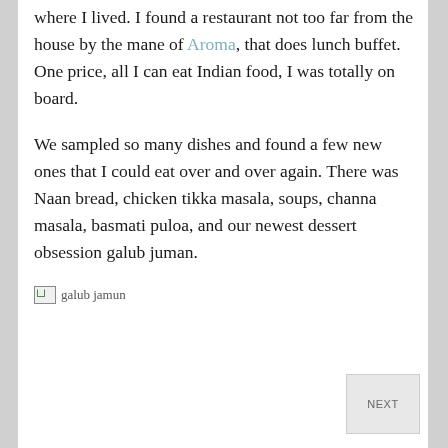where I lived. I found a restaurant not too far from the house by the mane of Aroma, that does lunch buffet. One price, all I can eat Indian food, I was totally on board.
We sampled so many dishes and found a few new ones that I could eat over and over again. There was Naan bread, chicken tikka masala, soups, channa masala, basmati puloa, and our newest dessert obsession galub juman.
[Figure (photo): Broken image placeholder with alt text 'galub jamun']